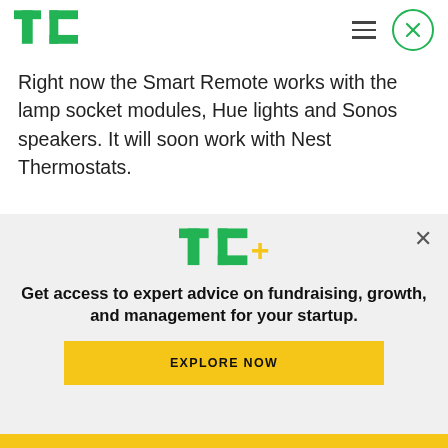TechCrunch logo, hamburger menu, close button
Right now the Smart Remote works with the lamp socket modules, Hue lights and Sonos speakers. It will soon work with Nest Thermostats.
SevenHugs has yet to set a price for the Smart Remote. It expects to launch a Kickstarter campaign in February 2016 and ship the product
[Figure (logo): TC+ logo overlay banner]
Get access to expert advice on fundraising, growth, and management for your startup.
EXPLORE NOW